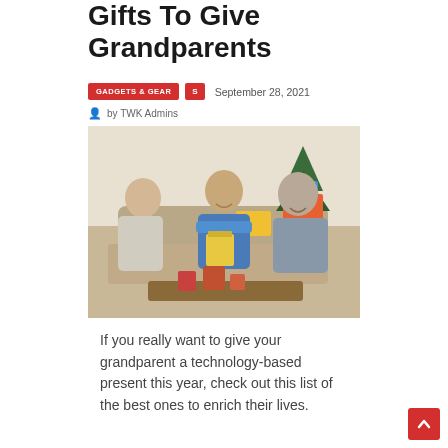Gifts To Give Grandparents
GADGETS & GEAR  S  September 28, 2021
by TWK Admins
[Figure (photo): Family scene with grandparents and grandchild opening gifts on a couch, Christmas tree in background, drinks on coffee table]
If you really want to give your grandparent a technology-based present this year, check out this list of the best ones to enrich their lives.